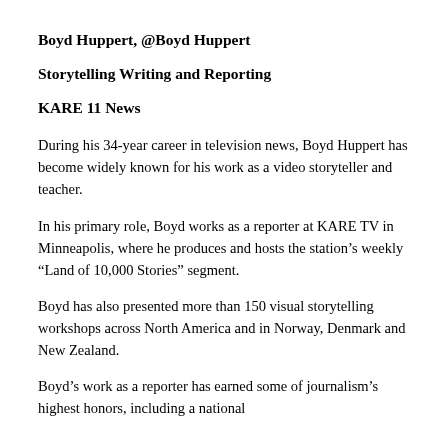Boyd Huppert, @Boyd Huppert
Storytelling Writing and Reporting
KARE 11 News
During his 34-year career in television news, Boyd Huppert has become widely known for his work as a video storyteller and teacher.
In his primary role, Boyd works as a reporter at KARE TV in Minneapolis, where he produces and hosts the station’s weekly “Land of 10,000 Stories” segment.
Boyd has also presented more than 150 visual storytelling workshops across North America and in Norway, Denmark and New Zealand.
Boyd’s work as a reporter has earned some of journalism’s highest honors, including a national